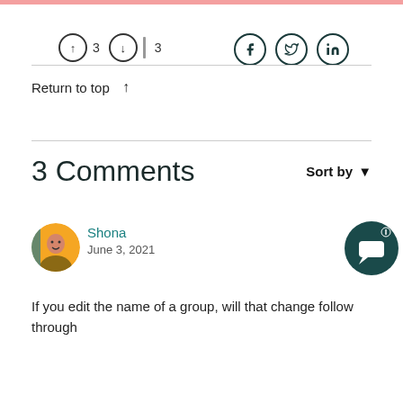[Figure (screenshot): Top pink accent bar at top of page]
[Figure (infographic): Vote/reaction row with up-vote circle showing 3, down-vote circle, separator bar, count 3, and social share icons for Facebook, Twitter, LinkedIn]
Return to top ↑
3 Comments
Sort by ▼
Shona
June 3, 2021
If you edit the name of a group, will that change follow through